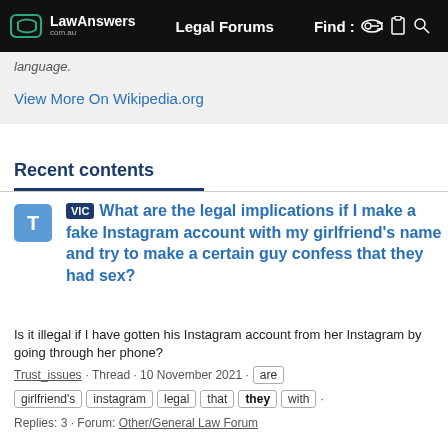LawAnswers com.au | Legal Forums | Find i
language.
View More On Wikipedia.org
Recent contents
VIC What are the legal implications if I make a fake Instagram account with my girlfriend's name and try to make a certain guy confess that they had sex?
Is it illegal if I have gotten his Instagram account from her Instagram by going through her phone?
Trust_issues · Thread · 10 November 2021 · are girlfriend's instagram legal that they with ·
Replies: 3 · Forum: Other/General Law Forum